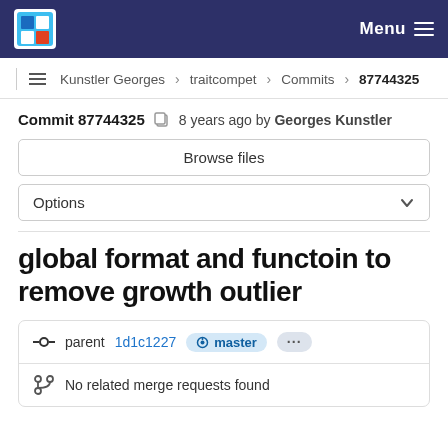Menu
Kunstler Georges > traitcompet > Commits > 87744325
Commit 87744325  8 years ago by Georges Kunstler
Browse files
Options
global format and functoin to remove growth outlier
parent 1d1c1227  master  ...
No related merge requests found